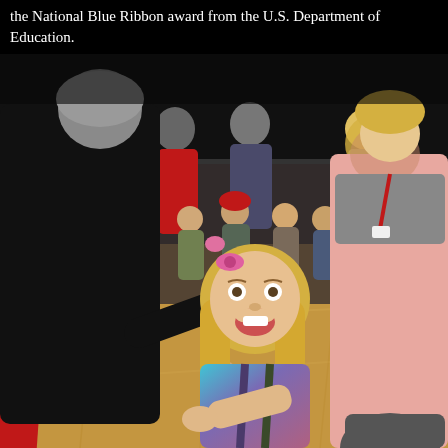the National Blue Ribbon award from the U.S. Department of Education.
[Figure (photo): A smiling young girl with long blonde hair wearing a colorful teal/purple jacket shakes hands with an adult man in a dark suit (seen from behind/side). They are in a school gymnasium. A crowd of young children and adults stand in the background. A woman in grey with a red lanyard and a person in a pink jacket are visible to the right. Red banners are visible on the left wall.]